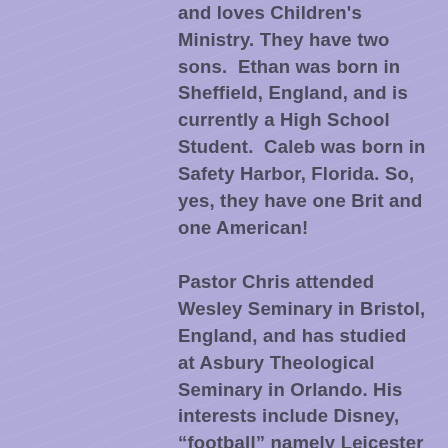and loves Children's Ministry. They have two sons. Ethan was born in Sheffield, England, and is currently a High School Student. Caleb was born in Safety Harbor, Florida. So, yes, they have one Brit and one American!
Pastor Chris attended Wesley Seminary in Bristol, England, and has studied at Asbury Theological Seminary in Orlando. His interests include Disney, “football” namely Leicester City, movies, travel and trying to keep up with his